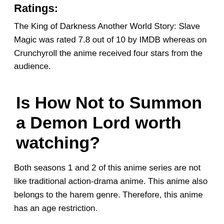Ratings:
The King of Darkness Another World Story: Slave Magic was rated 7.8 out of 10 by IMDB whereas on Crunchyroll the anime received four stars from the audience.
Is How Not to Summon a Demon Lord worth watching?
Both seasons 1 and 2 of this anime series are not like traditional action-drama anime. This anime also belongs to the harem genre. Therefore, this anime has an age restriction.